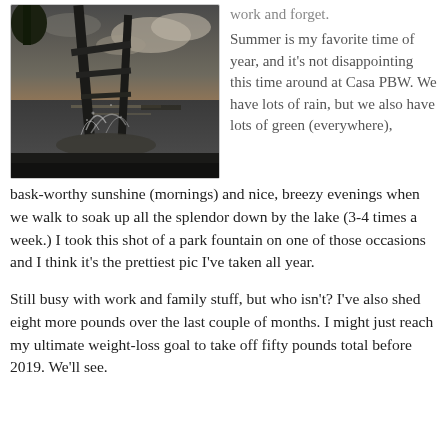[Figure (photo): Black and white photo of a park fountain at dusk near a lake, with a metal structure and water splashing, trees and cloudy sky in background]
work and forget.

Summer is my favorite time of year, and it's not disappointing this time around at Casa PBW. We have lots of rain, but we also have lots of green (everywhere), bask-worthy sunshine (mornings) and nice, breezy evenings when we walk to soak up all the splendor down by the lake (3-4 times a week.) I took this shot of a park fountain on one of those occasions and I think it's the prettiest pic I've taken all year.
Still busy with work and family stuff, but who isn't? I've also shed eight more pounds over the last couple of months. I might just reach my ultimate weight-loss goal to take off fifty pounds total before 2019. We'll see.